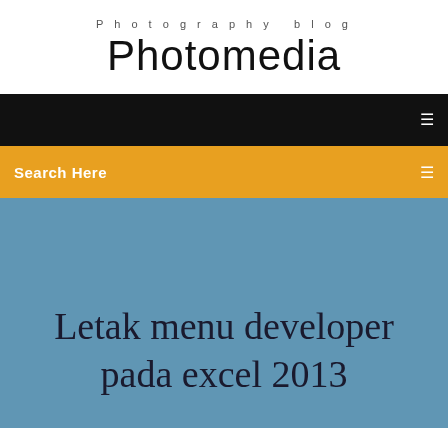Photography blog
Photomedia
☰
Search Here ☰
Letak menu developer pada excel 2013